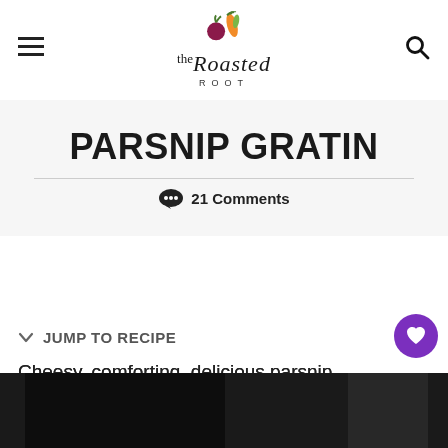The Roasted Root (logo with hamburger menu and search icon)
PARSNIP GRATIN
21 Comments
JUMP TO RECIPE
Cheesy, comforting, delicious parsnip gratin makes for a great side dish to share with others.
[Figure (photo): Dark photo strip at the bottom of the page showing a parsnip gratin dish]